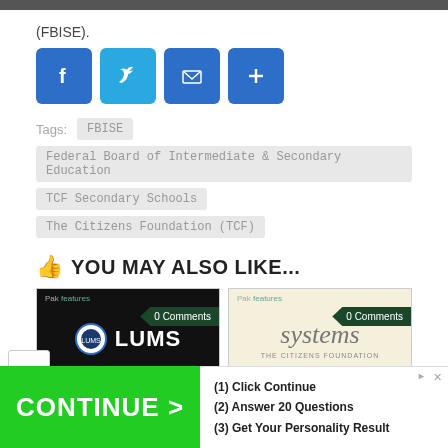(FBISE).
[Figure (infographic): Social sharing buttons: Facebook (f), Twitter (bird), Email (envelope), More (+), all in blue rounded squares]
Tags:  FBISE  Federal Board of Intermediate & Secondary Education  TCF Secondary Schools  The Citizens Foundation (TCF)
YOU MAY ALSO LIKE...
[Figure (screenshot): Two article preview cards: left card shows LUMS logo on black background with '0 Comments' badge; right card shows 'systems' text with The Citizens Foundation logo on beige background with '0 Comments' badge]
[Figure (infographic): Advertisement bar: green button with 'CONTINUE >' text on left, white area with '(1) Click Continue (2) Answer 20 Questions (3) Get Your Personality Result' on right]